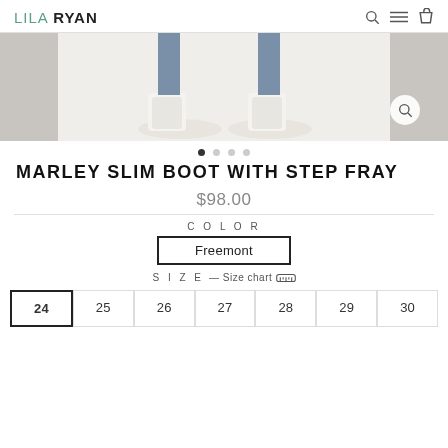LILA RYAN
[Figure (photo): Product photo showing feet wearing white sneakers/boots on a light background]
COLOR
Freemont
SIZE — Size chart
MARLEY SLIM BOOT WITH STEP FRAY
$98.00
24
25
26
27
28
29
30